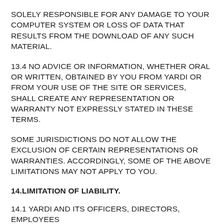SOLELY RESPONSIBLE FOR ANY DAMAGE TO YOUR COMPUTER SYSTEM OR LOSS OF DATA THAT RESULTS FROM THE DOWNLOAD OF ANY SUCH MATERIAL.
13.4 NO ADVICE OR INFORMATION, WHETHER ORAL OR WRITTEN, OBTAINED BY YOU FROM YARDI OR FROM YOUR USE OF THE SITE OR SERVICES, SHALL CREATE ANY REPRESENTATION OR WARRANTY NOT EXPRESSLY STATED IN THESE TERMS.
SOME JURISDICTIONS DO NOT ALLOW THE EXCLUSION OF CERTAIN REPRESENTATIONS OR WARRANTIES. ACCORDINGLY, SOME OF THE ABOVE LIMITATIONS MAY NOT APPLY TO YOU.
14.LIMITATION OF LIABILITY.
14.1 YARDI AND ITS OFFICERS, DIRECTORS, EMPLOYEES